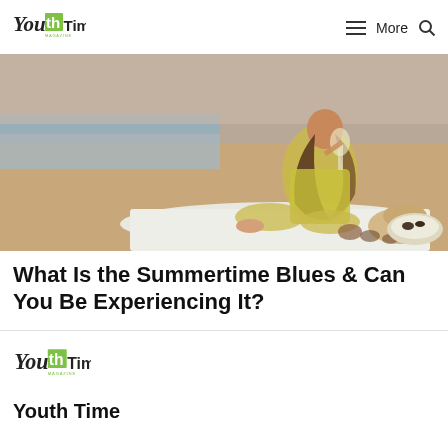Youth Time Magazine — More (navigation)
[Figure (photo): A young woman in a yellow outfit sitting on a white blanket on a sandy beach, holding a glass of white wine, with food spread around her and the ocean in the background.]
What Is the Summertime Blues & Can You Be Experiencing It?
[Figure (logo): Youth Time Magazine logo in the footer section]
Youth Time